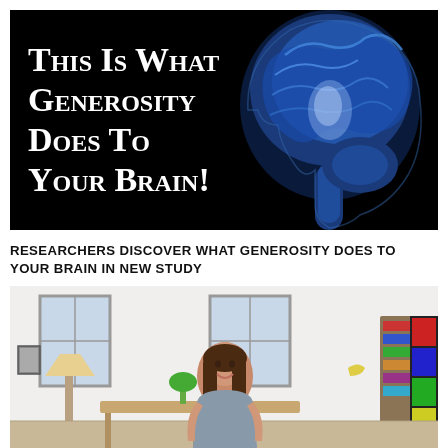[Figure (illustration): Black background image with white small-caps bold text on the left reading 'This Is What Generosity Does To Your Brain!' and a blue-tinted MRI brain scan sagittal view on the right.]
RESEARCHERS DISCOVER WHAT GENEROSITY DOES TO YOUR BRAIN IN NEW STUDY
[Figure (photo): Photo of a smiling young woman with long brown hair standing in a modern loft-style room with large windows, a lamp, bookshelf, and a colorful striped artwork on the right.]